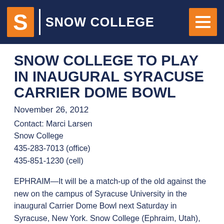SNOW COLLEGE
SNOW COLLEGE TO PLAY IN INAUGURAL SYRACUSE CARRIER DOME BOWL
November 26, 2012
Contact: Marci Larsen
Snow College
435-283-7013 (office)
435-851-1230 (cell)
EPHRAIM—It will be a match-up of the old against the new on the campus of Syracuse University in the inaugural Carrier Dome Bowl next Saturday in Syracuse, New York. Snow College (Ephraim, Utah), the oldest two-